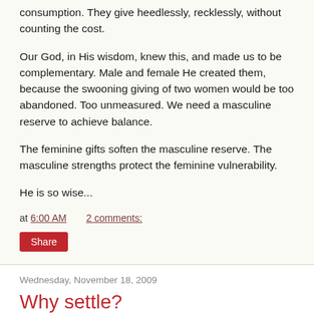consumption. They give heedlessly, recklessly, without counting the cost.
Our God, in His wisdom, knew this, and made us to be complementary. Male and female He created them, because the swooning giving of two women would be too abandoned. Too unmeasured. We need a masculine reserve to achieve balance.
The feminine gifts soften the masculine reserve. The masculine strengths protect the feminine vulnerability.
He is so wise...
at 6:00 AM   2 comments:
Share
Wednesday, November 18, 2009
Why settle?